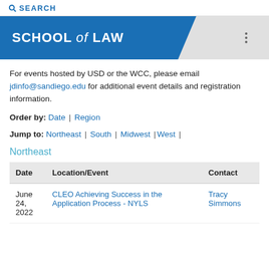SEARCH
SCHOOL of LAW
For events hosted by USD or the WCC, please email jdinfo@sandiego.edu for additional event details and registration information.
Order by: Date | Region
Jump to: Northeast | South | Midwest | West |
Northeast
| Date | Location/Event | Contact |
| --- | --- | --- |
| June 24, 2022 | CLEO Achieving Success in the Application Process - NYLS | Tracy Simmons |